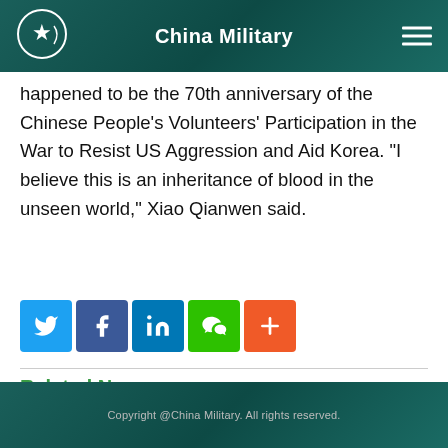China Military
happened to be the 70th anniversary of the Chinese People's Volunteers' Participation in the War to Resist US Aggression and Aid Korea. "I believe this is an inheritance of blood in the unseen world," Xiao Qianwen said.
Related News
Copyright @China Military. All rights reserved.